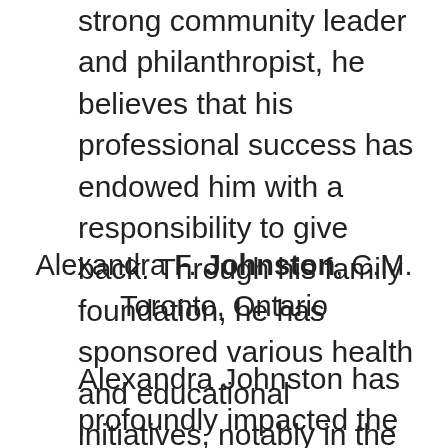strong community leader and philanthropist, he believes that his professional success has endowed him with a responsibility to give back. Through his family foundation, he has sponsored various health and educational initiatives, notably in the cities of Toronto and Ottawa.
Alexandra F. Johnston, C.M.
Toronto, Ontario
Alexandra Johnston has profoundly impacted the humanities in Canada. As a professor emerita at the University of Toronto, she has been praised for her